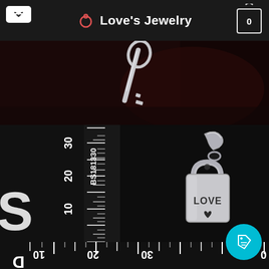Love's Jewelry
[Figure (photo): Silver key pendant on dark background, partially visible at top]
[Figure (photo): Silver padlock pendant engraved with LOVE and a heart, shown next to a metric ruler on black background. Ruler markings show BS181330 and measurements 10, 20, 30. A cyan tag/price button appears in bottom right corner.]